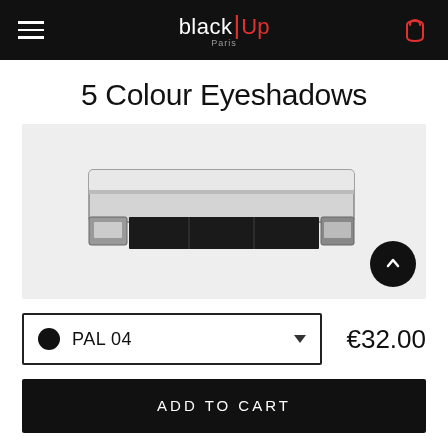black|Up Paris
5 Colour Eyeshadows
[Figure (photo): A black and silver rectangular 5-colour eyeshadow palette by black|Up Paris, shown closed with chrome finishing on a light grey background.]
PAL 04
€32.00
ADD TO CART